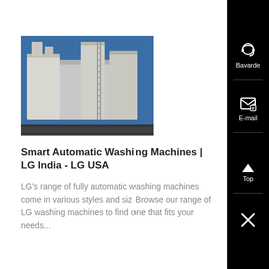[Figure (photo): Industrial or commercial washing machine equipment with large cylindrical tanks and blue sky background]
Smart Automatic Washing Machines | LG India - LG USA
LG's range of fully automatic washing machines come in various styles and siz Browse our range of LG washing machines to find one that fits your needs...